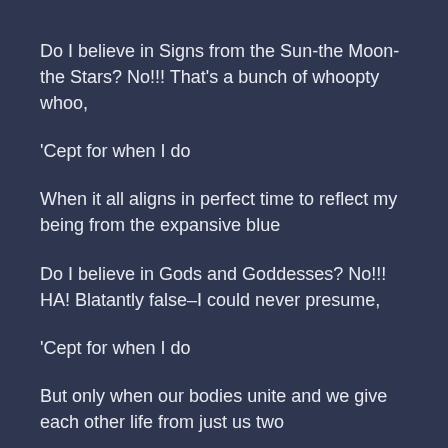Do I believe in Signs from the Sun-the Moon-the Stars? No!!! That's a bunch of whoopty whoo,
'Cept for when I do
When it all aligns in perfect time to reflect my being from the expansive blue
Do I believe in Gods and Goddesses? No!!! HA! Blatantly false–I could never presume,
'Cept for when I do
But only when our bodies unite and we give each other life from just us two
Do I believe in Logic and Reason? Yes!!! They will always always WIN,